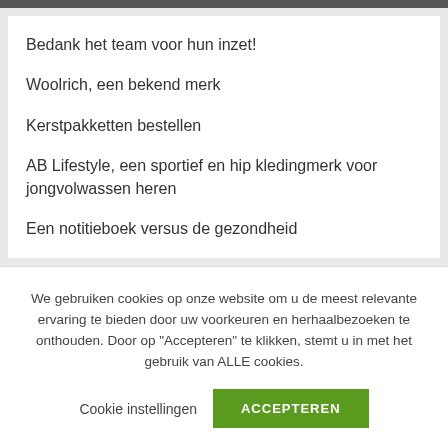Bedank het team voor hun inzet!
Woolrich, een bekend merk
Kerstpakketten bestellen
AB Lifestyle, een sportief en hip kledingmerk voor jongvolwassen heren
Een notitieboek versus de gezondheid
Dit heb je misschien gemist
We gebruiken cookies op onze website om u de meest relevante ervaring te bieden door uw voorkeuren en herhaalbezoeken te onthouden. Door op "Accepteren" te klikken, stemt u in met het gebruik van ALLE cookies.
Cookie instellingen    ACCEPTEREN